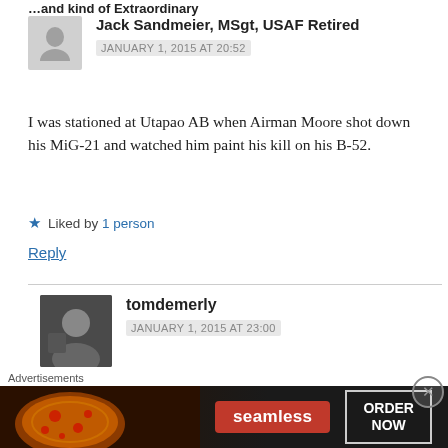...and kind of Extraordinary
Jack Sandmeier, MSgt, USAF Retired
JANUARY 1, 2015 AT 20:52
I was stationed at Utapao AB when Airman Moore shot down his MiG-21 and watched him paint his kill on his B-52.
Liked by 1 person
Reply
tomdemerly
JANUARY 1, 2015 AT 23:00
[Figure (other): Seamless food delivery advertisement banner with pizza image, Seamless logo, and ORDER NOW button]